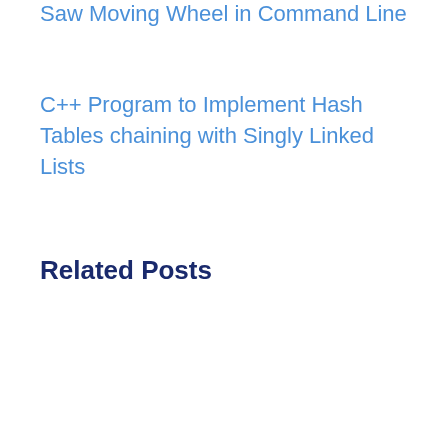Saw Moving Wheel in Command Line
C++ Program to Implement Hash Tables chaining with Singly Linked Lists
Related Posts